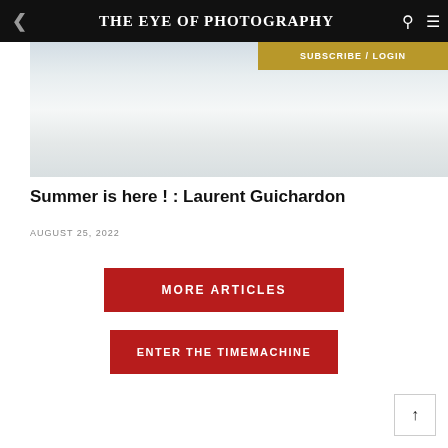THE EYE OF PHOTOGRAPHY
[Figure (photo): Light-toned beach or landscape photo with pale sky and soft sand/water tones — very low contrast, washed out white/grey tones]
Summer is here ! : Laurent Guichardon
AUGUST 25, 2022
MORE ARTICLES
ENTER THE TIMEMACHINE